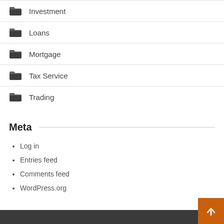Investment
Loans
Mortgage
Tax Service
Trading
Meta
Log in
Entries feed
Comments feed
WordPress.org